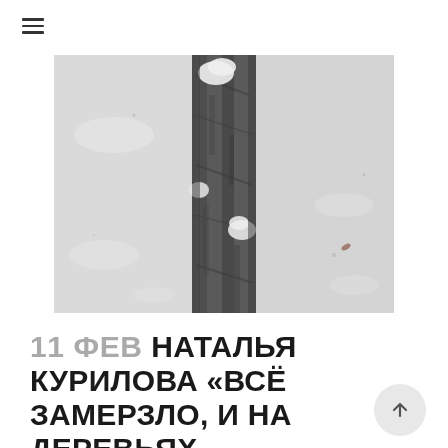[Figure (photo): Close-up black and white photograph of a snow-covered tree trunk against a snowy background]
11 ФЕВ НАТАЛЬЯ КУРИЛОВА «ВСЁ ЗАМЕРЗЛО, И НА ДЕРЕВЬЯХ ПОЯВИЛИСЬ